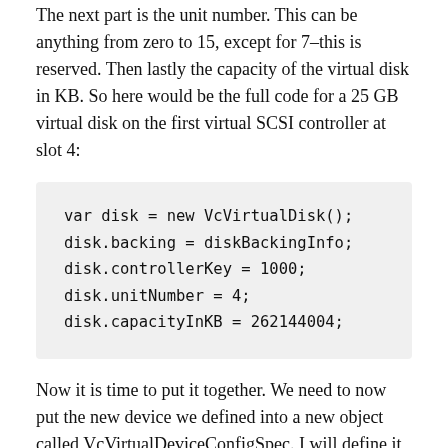The next part is the unit number. This can be anything from zero to 15, except for 7–this is reserved. Then lastly the capacity of the virtual disk in KB. So here would be the full code for a 25 GB virtual disk on the first virtual SCSI controller at slot 4:
var disk = new VcVirtualDisk();
disk.backing = diskBackingInfo;
disk.controllerKey = 1000;
disk.unitNumber = 4;
disk.capacityInKB = 262144004;
Now it is time to put it together. We need to now put the new device we defined into a new object called VcVirtualDeviceConfigSpec. I will define it in an object called deviceConfigSpec.